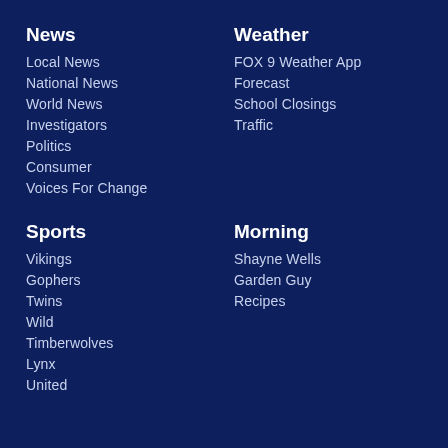News
Local News
National News
World News
Investigators
Politics
Consumer
Voices For Change
Weather
FOX 9 Weather App
Forecast
School Closings
Traffic
Sports
Vikings
Gophers
Twins
Wild
Timberwolves
Lynx
United
Morning
Shayne Wells
Garden Guy
Recipes